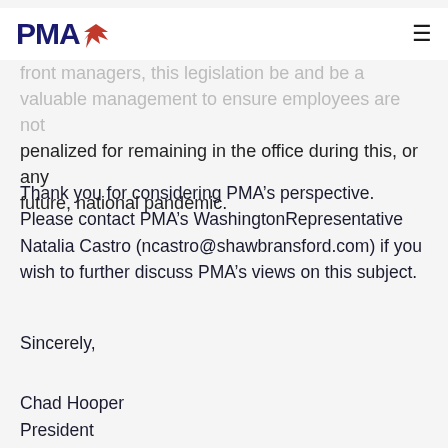PMA [logo]
front managers, this legislation be and be a valuable management to ensure employees are not penalized for remaining in the office during this, or any future, national pandemic.
Thank you for considering PMA's perspective. Please contact PMA's WashingtonRepresentative Natalia Castro (ncastro@shawbransford.com) if you wish to further discuss PMA's views on this subject.
Sincerely,
Chad Hooper
President
Professional Managers Association